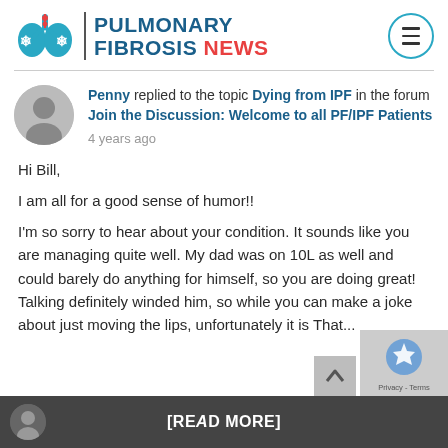PULMONARY FIBROSIS NEWS
Penny replied to the topic Dying from IPF in the forum Join the Discussion: Welcome to all PF/IPF Patients
4 years ago
Hi Bill,

I am all for a good sense of humor!!

I'm so sorry to hear about your condition. It sounds like you are managing quite well. My dad was on 10L as well and could barely do anything for himself, so you are doing great! Talking definitely winded him, so while you can make a joke about just moving the lips, unfortunately it is That...
[READ MORE]